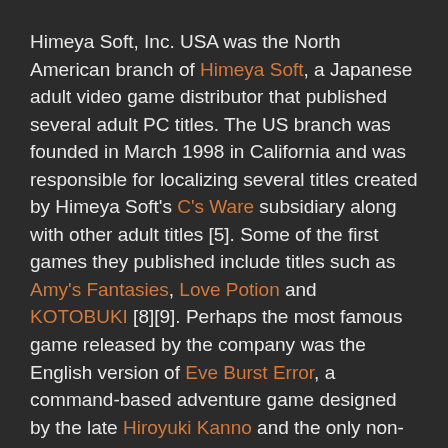Himeya Soft, Inc. USA was the North American branch of Himeya Soft, a Japanese adult video game distributor that published several adult PC titles. The US branch was founded in March 1998 in California and was responsible for localizing several titles created by Himeya Soft's C's Ware subsidiary along with other adult titles [5]. Some of the first games they published include titles such as Amy's Fantasies, Love Potion and KOTOBUKI [8][9]. Perhaps the most famous game released by the company was the English version of Eve Burst Error, a command-based adventure game designed by the late Hiroyuki Kanno and the only non-adult title published by Himeya Soft.
Himeya Soft USA also operated an online store that opened in August 1998 and began business in earnest around March 2000 where they sold their own titles as well as various imported Japanese media [4][7]. Later on the